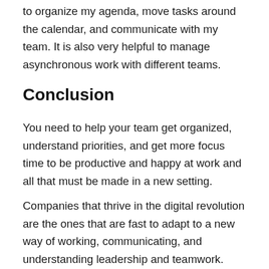to organize my agenda, move tasks around the calendar, and communicate with my team. It is also very helpful to manage asynchronous work with different teams.
Conclusion
You need to help your team get organized, understand priorities, and get more focus time to be productive and happy at work and all that must be made in a new setting.
Companies that thrive in the digital revolution are the ones that are fast to adapt to a new way of working, communicating, and understanding leadership and teamwork.
There are many tools available, but they will be useless unless you prepare yourself and your team to be digital savvy and build the communication and process structure